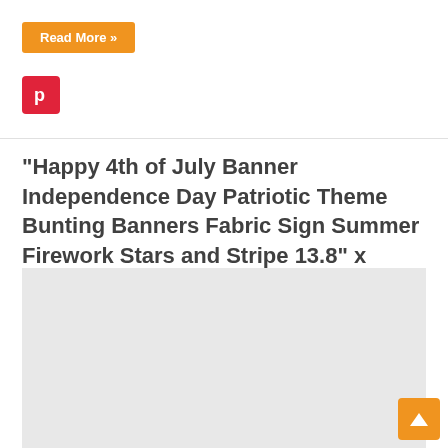Read More »
[Figure (logo): Pinterest icon button (red background with white P logo)]
“Happy 4th of July Banner Independence Day Patriotic Theme Bunting Banners Fabric Sign Summer Firework Stars and Stripe 13.8” x 78.8””
[Figure (photo): Light gray image placeholder rectangle]